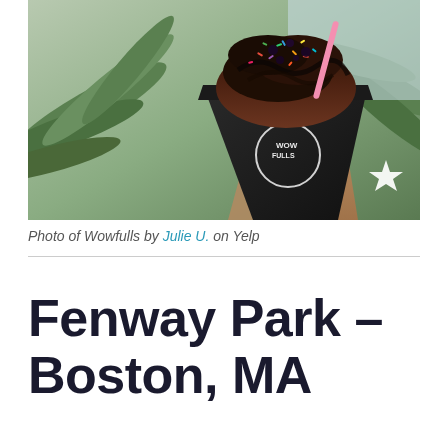[Figure (photo): A hand holding a black cone-shaped container branded 'Wowfulls' filled with a chocolate and sprinkle-topped waffle dessert, with tropical green palm leaves in the background. A Yelp logo star is visible in the lower right of the photo.]
Photo of Wowfulls by Julie U. on Yelp
Fenway Park – Boston, MA